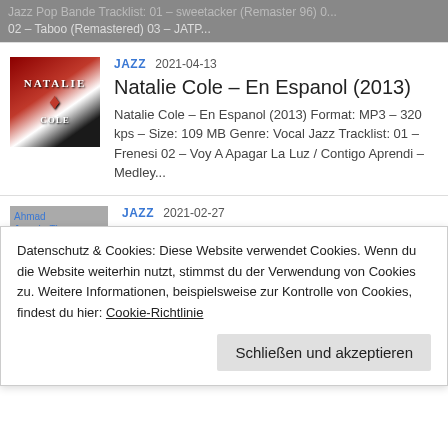Jazz Pop Bande Tracklist: 01 – sweetacker (Remaster 96) 02 – Taboo (Remastered) 03 – JATP...
JAZZ 2021-04-13
Natalie Cole – En Espanol (2013)
Natalie Cole – En Espanol (2013) Format: MP3 – 320 kps – Size: 109 MB Genre: Vocal Jazz Tracklist: 01 – Frenesi 02 – Voy A Apagar La Luz / Contigo Aprendi – Medley...
JAZZ 2021-02-27
Ahmad Jamal – The Summit (2017)
Datenschutz & Cookies: Diese Website verwendet Cookies. Wenn du die Website weiterhin nutzt, stimmst du der Verwendung von Cookies zu. Weitere Informationen, beispielsweise zur Kontrolle von Cookies, findest du hier: Cookie-Richtlinie
Schließen und akzeptieren
Marcos Valle – Sempre (2019)